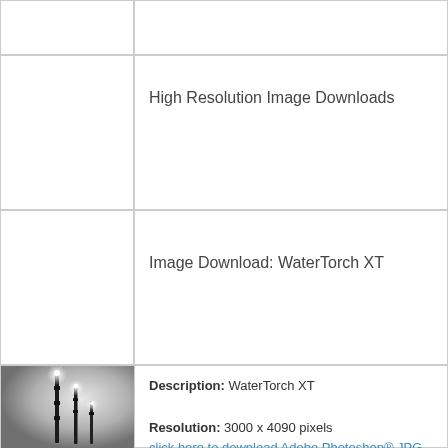High Resolution Image Downloads
Image Download: WaterTorch XT
[Figure (photo): WaterTorch XT product photo showing tall dark poles with bright flame-like lights at the top, set against a grey gradient background]
Description: WaterTorch XT
Resolution: 3000 x 4090 pixels
click here to download Adobe Photoshop® JPG RGB